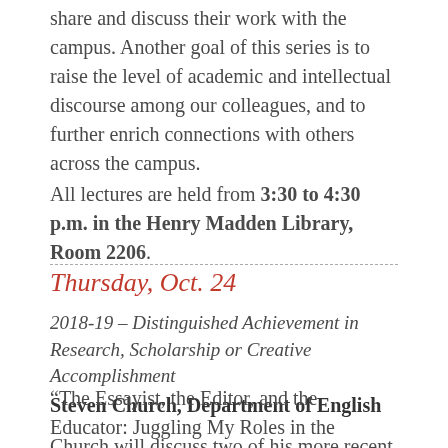share and discuss their work with the campus. Another goal of this series is to raise the level of academic and intellectual discourse among our colleagues, and to further enrich connections with others across the campus.
All lectures are held from 3:30 to 4:30 p.m. in the Henry Madden Library, Room 2206.
Thursday, Oct. 24
2018-19 – Distinguished Achievement in Research, Scholarship or Creative Accomplishment
Steven Church, Department of English
“The Essayist, the Editor, and the Educator: Juggling My Roles in the Academy”
Church will discuss two of his more recent creative